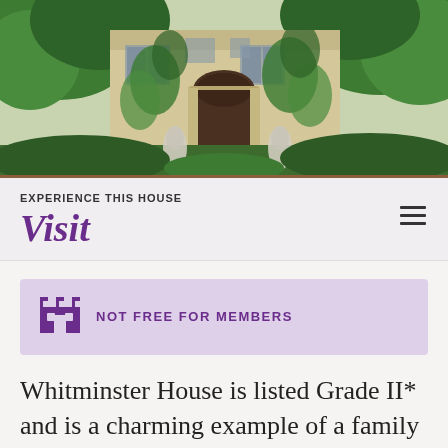[Figure (photo): Exterior of Whitminster House, a stone manor covered in ivy with arched doorway and mullioned windows, surrounded by lush green trees and garden statues]
EXPERIENCE THIS HOUSE
Visit
NOT FREE FOR MEMBERS
Whitminster House is listed Grade II* and is a charming example of a family home that has evolved over the centuries.